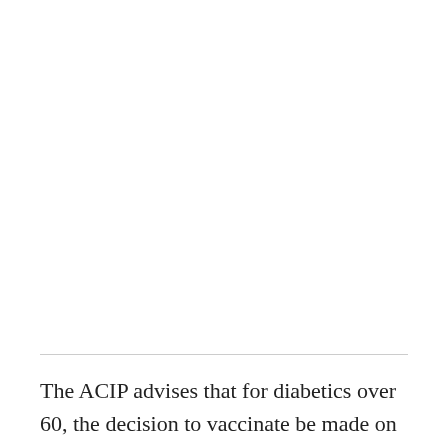The ACIP advises that for diabetics over 60, the decision to vaccinate be made on an individual